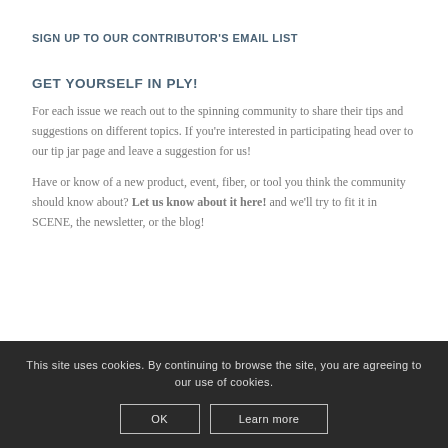SIGN UP TO OUR CONTRIBUTOR'S EMAIL LIST
GET YOURSELF IN PLY!
For each issue we reach out to the spinning community to share their tips and suggestions on different topics. If you're interested in participating head over to our tip jar page and leave a suggestion for us!
Have or know of a new product, event, fiber, or tool you think the community should know about? Let us know about it here! and we'll try to fit it in SCENE, the newsletter, or the blog!
This site uses cookies. By continuing to browse the site, you are agreeing to our use of cookies.